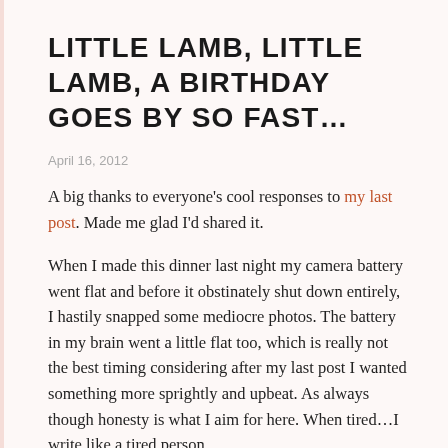LITTLE LAMB, LITTLE LAMB, A BIRTHDAY GOES BY SO FAST…
April 16, 2012
A big thanks to everyone's cool responses to my last post. Made me glad I'd shared it.
When I made this dinner last night my camera battery went flat and before it obstinately shut down entirely, I hastily snapped some mediocre photos. The battery in my brain went a little flat too, which is really not the best timing considering after my last post I wanted something more sprightly and upbeat. As always though honesty is what I aim for here. When tired…I write like a tired person.